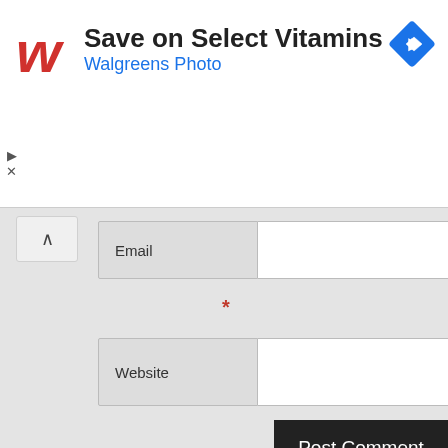[Figure (screenshot): Walgreens advertisement banner with logo, 'Save on Select Vitamins' headline, 'Walgreens Photo' subtitle, and a blue navigation arrow icon. Ad controls (play and close icons) visible on left.]
Email
*
Website
Post Comment
TEST
test
TEST 2
test 2